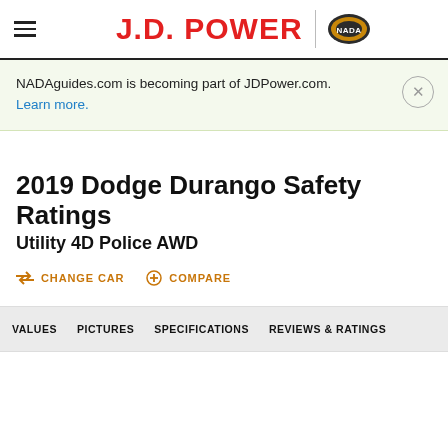J.D. POWER | NADA
NADAguides.com is becoming part of JDPower.com. Learn more.
2019 Dodge Durango Safety Ratings
Utility 4D Police AWD
CHANGE CAR
COMPARE
VALUES  PICTURES  SPECIFICATIONS  REVIEWS & RATINGS